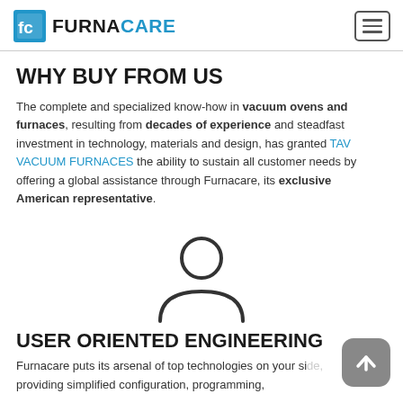FURNACARE
WHY BUY FROM US
The complete and specialized know-how in vacuum ovens and furnaces, resulting from decades of experience and steadfast investment in technology, materials and design, has granted TAV VACUUM FURNACES the ability to sustain all customer needs by offering a global assistance through Furnacare, its exclusive American representative.
[Figure (illustration): Person/user icon outline — circle for head, semicircle for shoulders/body]
USER ORIENTED ENGINEERING
Furnacare puts its arsenal of top technologies on your side, providing simplified configuration, programming,